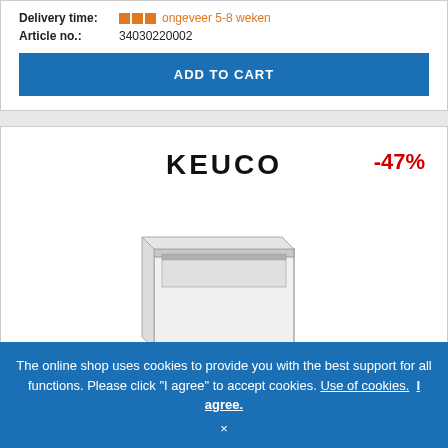Delivery time: ongeveer 5-8 weken
Article no.: 34030220002
ADD TO CART
[Figure (photo): KEUCO brand logo text with -47% discount badge, and a white bathroom vanity cabinet unit shown as a product image]
The online shop uses cookies to provide you with the best support for all functions. Please click "I agree" to accept cookies. Use of cookies. I agree. ×